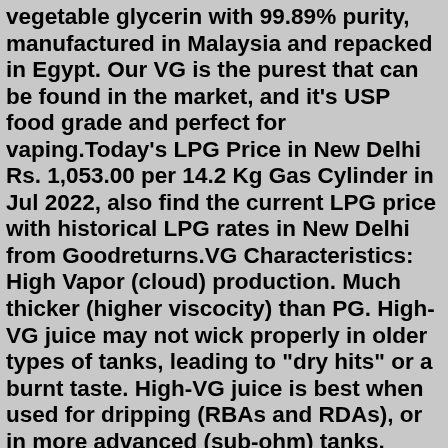vegetable glycerin with 99.89% purity, manufactured in Malaysia and repacked in Egypt. Our VG is the purest that can be found in the market, and it's USP food grade and perfect for vaping.Today's LPG Price in New Delhi Rs. 1,053.00 per 14.2 Kg Gas Cylinder in Jul 2022, also find the current LPG price with historical LPG rates in New Delhi from Goodreturns.VG Characteristics: High Vapor (cloud) production. Much thicker (higher viscocity) than PG. High-VG juice may not wick properly in older types of tanks, leading to "dry hits" or a burnt taste. High-VG juice is best when used for dripping (RBAs and RDAs), or in more advanced (sub-ohm) tanks. Little to no "throat hit" making for a smoother vape. Share Liters per 100 km (l/100km - Metric), fuel consumption. In the context of transportation, "fuel efficiency" more commonly refers to the energy efficiency of a particular vehicle model, where its total output (range, or "mileage" [U.S.]) is given as a ratio of range units per a unit amount of input fuel (gasoline, diesel, etc.) E Liquid Base 70/30 VG/PG 1